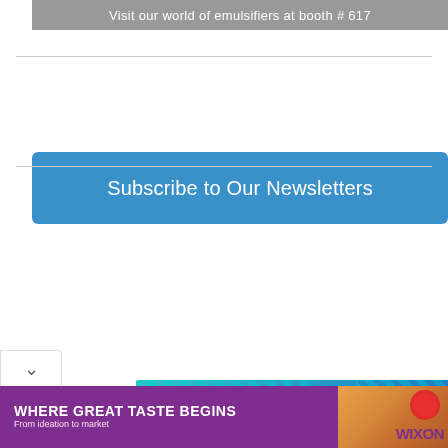Visit our world of emulsifiers at booth # 617
Subscribe to Our Newsletters
[Figure (illustration): PACK EXPO INTERNATIONAL advertisement banner with teal and blue gradient background, PACK EXPO logo, and text 'Innovation central for food manufacturing.' in white and yellow]
[Figure (illustration): WIXON advertisement banner with purple background, text 'WHERE GREAT TASTE BEGINS From ideation to market', WIXON logo, and food images]